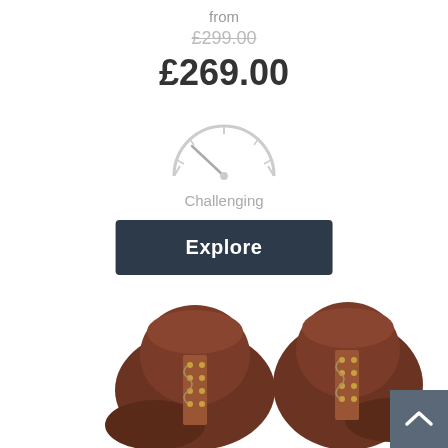from
£299.00
£269.00
[Figure (illustration): Speedometer/gauge icon indicating difficulty level, pointing to near-left (low-medium). Light gray outline style.]
Challenging
Explore
[Figure (photo): Two brown leather lace-up hiking/walking boots with brass eyelets, viewed from above and slightly to the side, on white background. Boots appear rugged and well-worn.]